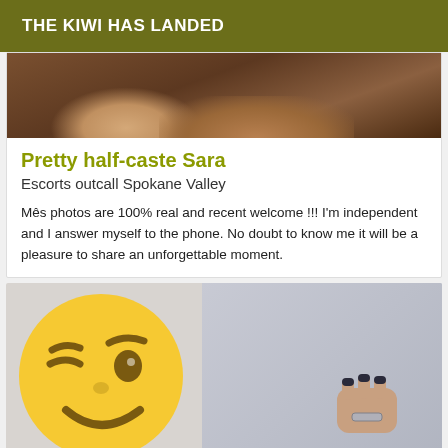THE KIWI HAS LANDED
[Figure (photo): Partial photo of a person's hands/body on a wooden surface, cropped at top of card]
Pretty half-caste Sara
Escorts outcall Spokane Valley
Mês photos are 100% real and recent welcome !!! I'm independent and I answer myself to the phone. No doubt to know me it will be a pleasure to share an unforgettable moment.
[Figure (photo): Winking emoji face overlaid on a photo of a person holding something, with a ring visible on their hand]